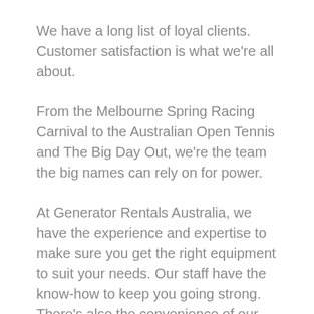We have a long list of loyal clients. Customer satisfaction is what we're all about.
From the Melbourne Spring Racing Carnival to the Australian Open Tennis and The Big Day Out, we're the team the big names can rely on for power.
At Generator Rentals Australia, we have the experience and expertise to make sure you get the right equipment to suit your needs. Our staff have the know-how to keep you going strong. There's also the convenience of our workshop for completing repairs and maintenance when the need arises.
Need someone to take care of all your generator